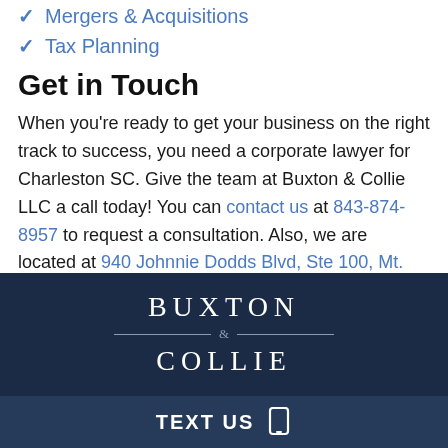Mergers & Acquisitions
Tax Planning
Get in Touch
When you’re ready to get your business on the right track to success, you need a corporate lawyer for Charleston SC. Give the team at Buxton & Collie LLC a call today! You can contact us at 843-874-8957 to request a consultation. Also, we are located at 940 Johnnie Dodds Blvd, Ste 100, Mt. Pleasant, SC 29464.
[Figure (logo): Buxton & Collie law firm logo on dark navy background with decorative divider and ampersand]
TEXT US